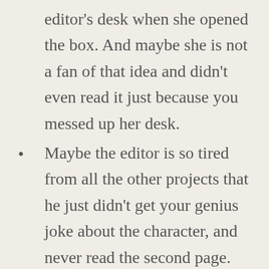editor's desk when she opened the box. And maybe she is not a fan of that idea and didn't even read it just because you messed up her desk.
Maybe the editor is so tired from all the other projects that he just didn't get your genius joke about the character, and never read the second page.
Maybe the editor loved your manuscript and wanted to give it a go, but there was a secret office war between the editor and the sales guy, or another editor, or the publisher, or the marketing team, or…